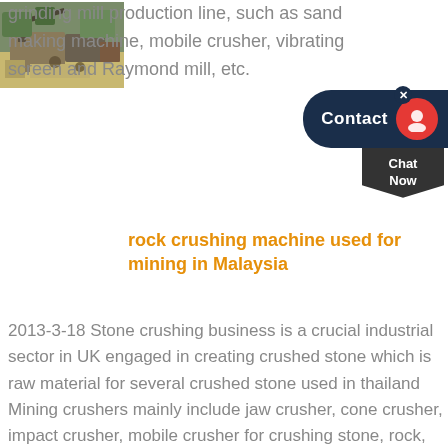grinding mill production line, such as sand making machine, mobile crusher, vibrating screen and Raymond mill, etc.
[Figure (screenshot): Contact widget with dark navy bar labeled 'Contact' with red circular icon and a 'Chat Now' dropdown tag below]
[Figure (photo): Photo of a rock crushing machine / quarry site with machinery and workers outdoors]
rock crushing machine used for mining in Malaysia
2013-3-18 Stone crushing business is a crucial industrial sector in UK engaged in creating crushed stone which is raw material for several crushed stone used in thailand Mining crushers mainly include jaw crusher, cone crusher, impact crusher, mobile crusher for crushing stone, rock, quarry materials in mining.